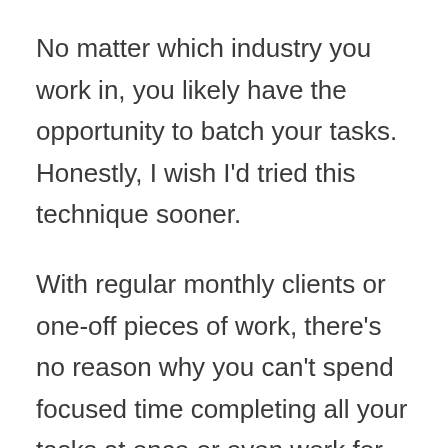No matter which industry you work in, you likely have the opportunity to batch your tasks. Honestly, I wish I'd tried this technique sooner.
With regular monthly clients or one-off pieces of work, there's no reason why you can't spend focused time completing all your tasks at once or even work for one particular client.
There's a real benefit in single-tasking. If our brains are able to focus on just one thing